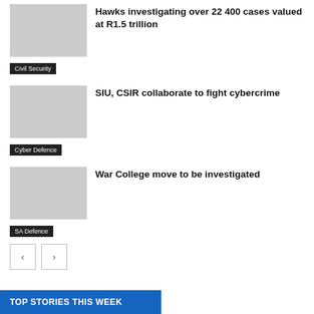Hawks investigating over 22 400 cases valued at R1.5 trillion
Civil Security
SIU, CSIR collaborate to fight cybercrime
Cyber Defence
War College move to be investigated
SA Defence
TOP STORIES THIS WEEK